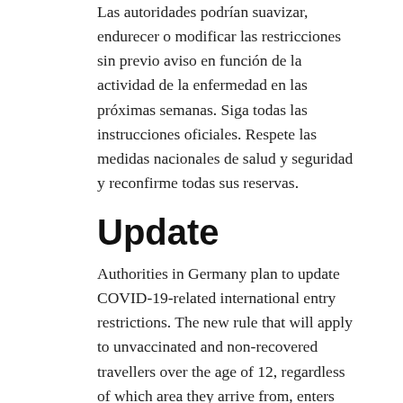Las autoridades podrían suavizar, endurecer o modificar las restricciones sin previo aviso en función de la actividad de la enfermedad en las próximas semanas. Siga todas las instrucciones oficiales. Respete las medidas nacionales de salud y seguridad y reconfirme todas sus reservas.
Update
Authorities in Germany plan to update COVID-19-related international entry restrictions. The new rule that will apply to unvaccinated and non-recovered travellers over the age of 12, regardless of which area they arrive from, enters into force on Sunday, August 1 From August 1, 2021, all persons aged 12 and over must present a current test certificate